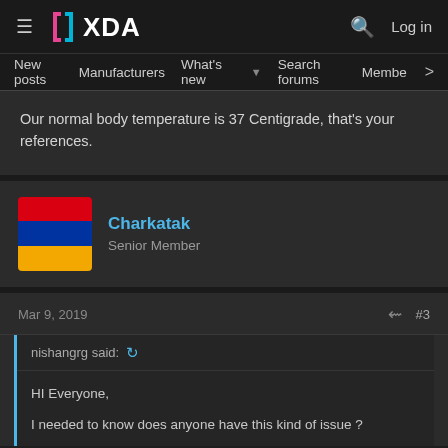XDA — New posts  Manufacturers  What's new  Search forums  Membe  >  Log in
Our normal body temperature is 37 Centigrade, that's your references.
Charkatak
Senior Member
Mar 9, 2019  #3
nishangrg said:
HI Everyone,
I needed to know does anyone have this kind of issue ?